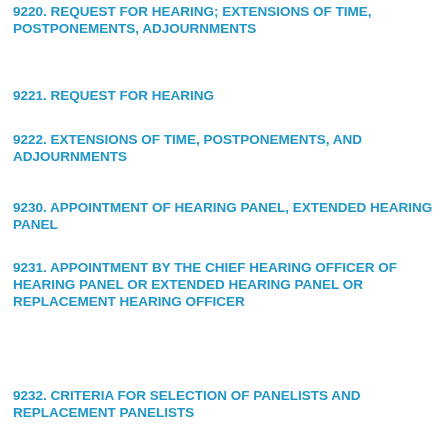9220. REQUEST FOR HEARING; EXTENSIONS OF TIME, POSTPONEMENTS, ADJOURNMENTS
9221. REQUEST FOR HEARING
9222. EXTENSIONS OF TIME, POSTPONEMENTS, AND ADJOURNMENTS
9230. APPOINTMENT OF HEARING PANEL, EXTENDED HEARING PANEL
9231. APPOINTMENT BY THE CHIEF HEARING OFFICER OF HEARING PANEL OR EXTENDED HEARING PANEL OR REPLACEMENT HEARING OFFICER
9232. CRITERIA FOR SELECTION OF PANELISTS AND REPLACEMENT PANELISTS